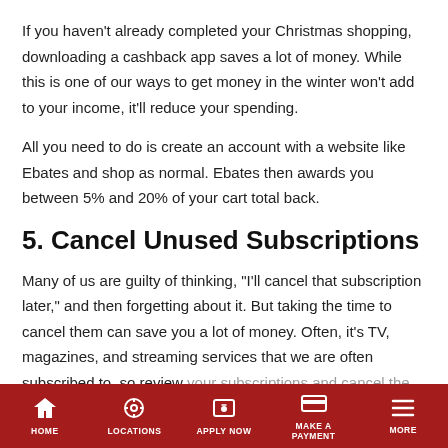If you haven't already completed your Christmas shopping, downloading a cashback app saves a lot of money. While this is one of our ways to get money in the winter won't add to your income, it'll reduce your spending.
All you need to do is create an account with a website like Ebates and shop as normal. Ebates then awards you between 5% and 20% of your cart total back.
5. Cancel Unused Subscriptions
Many of us are guilty of thinking, "I'll cancel that subscription later," and then forgetting about it. But taking the time to cancel them can save you a lot of money. Often, it's TV, magazines, and streaming services that we are often subscribed to, so review your subscriptions and cancel the ones you don't actually use.
HOME | LOCATIONS | APPLY NOW | MAKE A PAYMENT | MORE